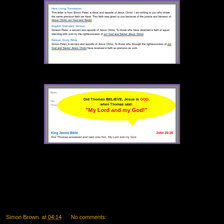[Figure (screenshot): Screenshot of Bible translation comparisons for 2 Peter 1:1. Shows New Living Translation, English Standard Version, and Berean Study Bible with underlined phrases 'our God and Savior Jesus Christ'.]
[Figure (screenshot): Screenshot showing a yellow speech bubble asking 'Did Thomas BELIEVE, Jesus is GOD, when Thomas said: My Lord and my God!' over a Bible verse comparison background. Bottom shows King James Bible John 20:28: 'And Thomas answered and said unto him, My Lord and my God.']
Simon Brown.  at  04:14      No comments: